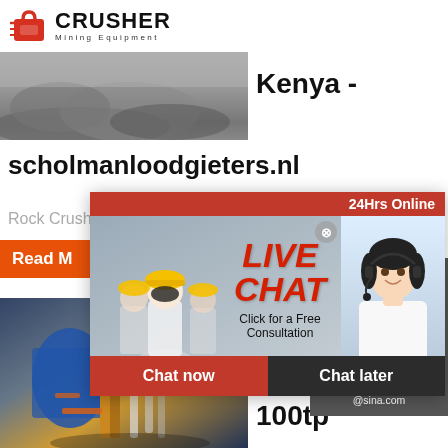[Figure (logo): Crusher Mining Equipment logo with red shopping bag icon and bold CRUSHER text]
[Figure (photo): Gravel or sand pile in an industrial/mining setting]
Kenya -
scholmanloodgieters.nl
Rock Crushe
[Figure (infographic): Live Chat overlay popup with workers in hard hats, LIVE CHAT text in red italic, Click for a Free Consultation subtitle, Chat now and Chat later buttons, 24Hrs Online banner, and woman with headset on right]
[Figure (photo): Industrial stone crushing machinery with blue tank and yellow metal framework]
stone crush mach 100tp
[Figure (infographic): Right sidebar: Need questions & suggestion?, Chat Now button, Enquiry link, limingjlmofen@sina.com email]